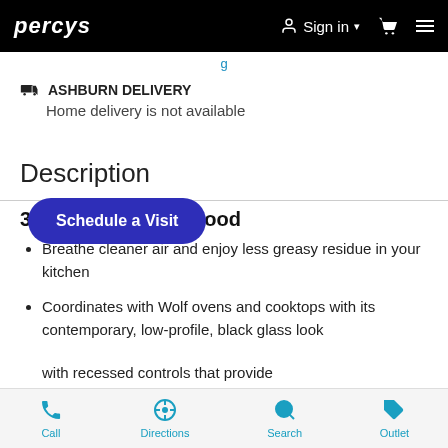PERCYS | Sign in | Cart | Menu
...g...
🚚 ASHBURN DELIVERY
Home delivery is not available
Description
30" Cooktop Wall Hood
Breathe cleaner air and enjoy less greasy residue in your kitchen
Coordinates with Wolf ovens and cooktops with its contemporary, low-profile, black glass look
...with recessed controls that provide ...yet maintain ultimate blower control
Schedule a Visit
Call | Directions | Search | Outlet